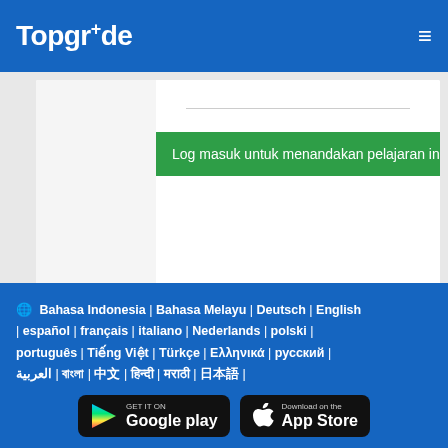TopgrAde
Log masuk untuk menandakan pelajaran ini lengka
Bahasa Indonesia | Bahasa Melayu | Deutsch | English | español | français | italiano | Nederlands | polski | português | Tiếng Việt | Türkçe | Ελληνικά | русский | العربية | বাংলা | 中文 | हिन्दी | मराठी | 日本語 | GET IT ON Google play | Download on the App Store